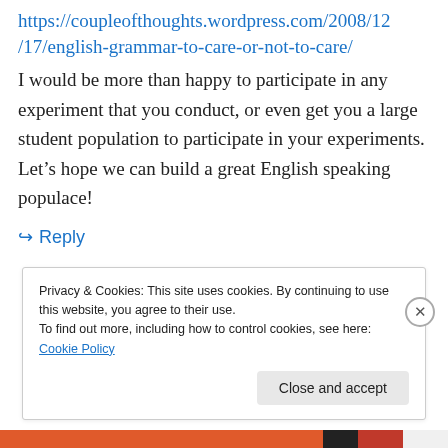https://coupleofthoughts.wordpress.com/2008/12/17/english-grammar-to-care-or-not-to-care/
I would be more than happy to participate in any experiment that you conduct, or even get you a large student population to participate in your experiments. Let’s hope we can build a great English speaking populace!
↪ Reply
Privacy & Cookies: This site uses cookies. By continuing to use this website, you agree to their use.
To find out more, including how to control cookies, see here: Cookie Policy